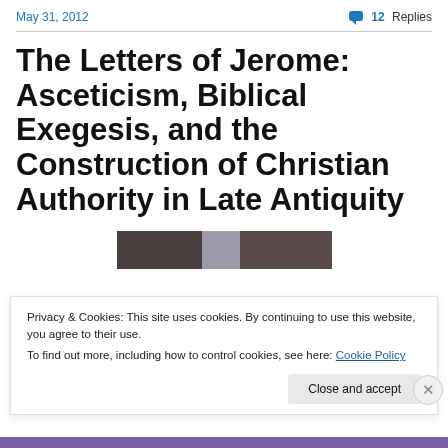May 31, 2012   💬 12 Replies
The Letters of Jerome: Asceticism, Biblical Exegesis, and the Construction of Christian Authority in Late Antiquity
[Figure (illustration): A horizontal strip of three color blocks: dark brown, grey-blue, dark brown-grey, representing a partially visible book cover image.]
Privacy & Cookies: This site uses cookies. By continuing to use this website, you agree to their use.
To find out more, including how to control cookies, see here: Cookie Policy